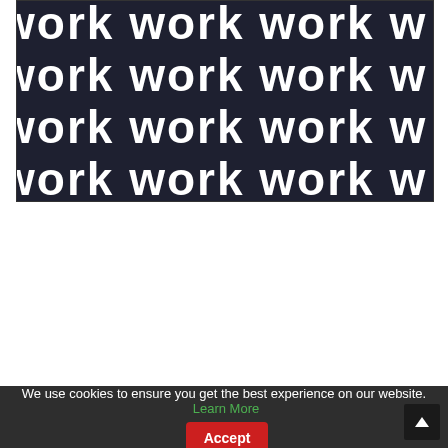[Figure (illustration): Dark navy/charcoal background with repeating white text 'work work work' in a tiled pattern, partially cropped on left and right sides]
We use cookies to ensure you get the best experience on our website. Learn More  Accept